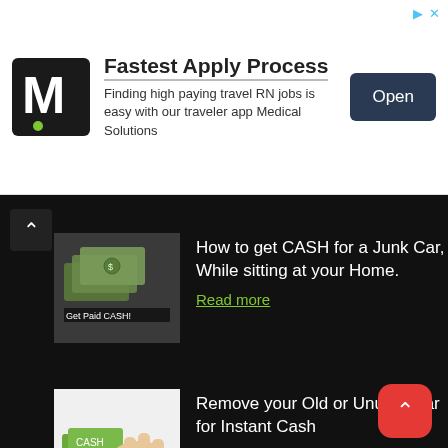[Figure (screenshot): Medical Solutions ad banner with M logo, 'Fastest Apply Process' heading, description about travel RN jobs, and Open button]
[Figure (photo): Thumbnail image of cash/dollar bills with text 'Get Paid CASH!']
How to get CASH for a Junk Car, While sitting at your Home.
Read more
[Figure (photo): Thumbnail image of hand giving cash/money]
Remove your Old or Unused car for Instant Cash
Read more
Get In Touch
sales@usajunkcarremoval.com
1110 East Gilbert Drive, Tempe, AZ, 85281